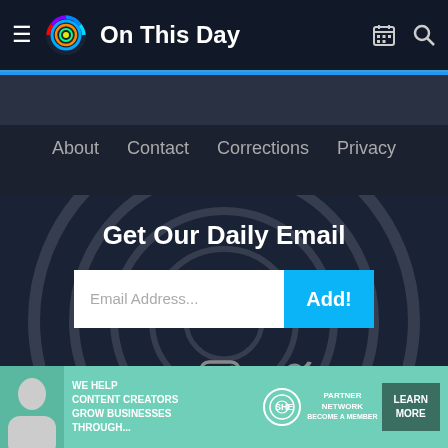On This Day
About  Contact  Corrections  Privacy
Get Our Daily Email
Email Address...  Add!
[Figure (screenshot): Social media icons: Facebook, Instagram, Twitter]
[Figure (infographic): Advertisement banner: WE HELP CONTENT CREATORS GROW BUSINESSES THROUGH... SHE PARTNER NETWORK BECOME A MEMBER | LEARN MORE]